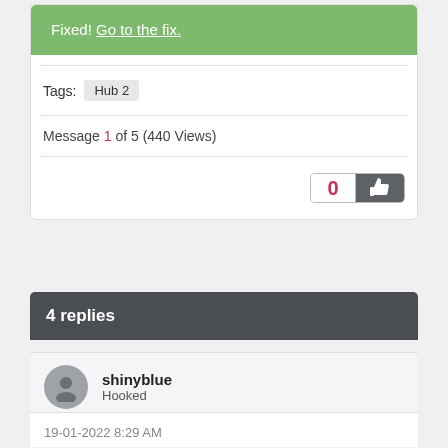Fixed! Go to the fix.
Tags: Hub 2
Message 1 of 5 (440 Views)
4 replies
shinyblue
Hooked
19-01-2022 8:29 AM